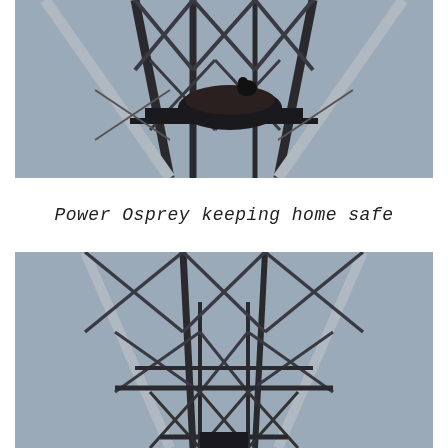[Figure (photo): Close-up photograph of a large steel electrical transmission tower structure against a grey sky, with an osprey nest visible on a horizontal crossbeam platform near the top of the tower.]
Power Osprey keeping home safe
[Figure (photo): Photograph of a steel electrical transmission tower structure viewed from below against a grey sky, showing the lattice framework and cross-bracing of the tower with no visible nest.]